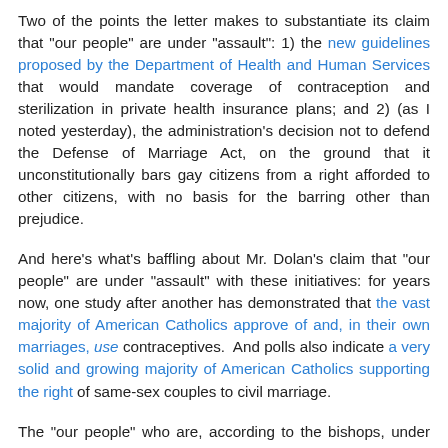Two of the points the letter makes to substantiate its claim that "our people" are under "assault": 1) the new guidelines proposed by the Department of Health and Human Services that would mandate coverage of contraception and sterilization in private health insurance plans; and 2) (as I noted yesterday), the administration's decision not to defend the Defense of Marriage Act, on the ground that it unconstitutionally bars gay citizens from a right afforded to other citizens, with no basis for the barring other than prejudice.
And here's what's baffling about Mr. Dolan's claim that "our people" are under "assault" with these initiatives: for years now, one study after another has demonstrated that the vast majority of American Catholics approve of and, in their own marriages, use contraceptives.  And polls also indicate a very solid and growing majority of American Catholics supporting the right of same-sex couples to civil marriage.
The "our people" who are, according to the bishops, under "assault" now by the Obama administration not only do not object to contraception and marriage equality, but actively